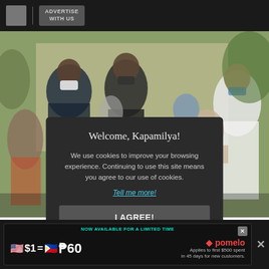ADVERTISE WITH US
[Figure (photo): Outdoor scene with many people wearing masks sitting at tables, apparently at a COVID-19 vaccination or government assistance site in the Philippines.]
Isko Moreno ... mondo
ABS-CBN News
Updated as of ...
Welcome, Kapamilya!
We use cookies to improve your browsing experience. Continuing to use this site means you agree to our use of cookies.
Tell me more!
I AGREE!
NOW AVAILABLE FOR A LIMITED TIME  $1 = ₱60  pomelo  Applies to first $500 spent in 45 days for new customers.